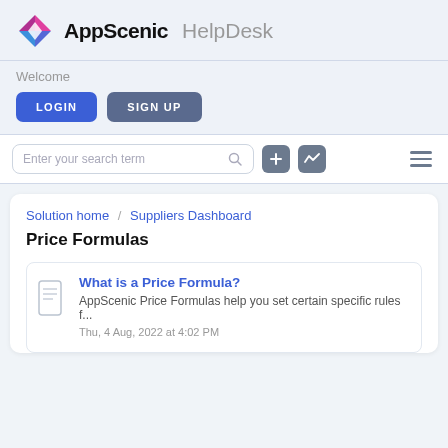AppScenic HelpDesk
Welcome
LOGIN   SIGN UP
Enter your search term
Solution home / Suppliers Dashboard
Price Formulas
What is a Price Formula?
AppScenic Price Formulas help you set certain specific rules f...
Thu, 4 Aug, 2022 at 4:02 PM